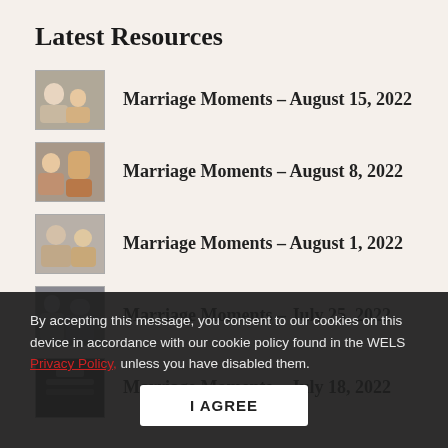Latest Resources
Marriage Moments – August 15, 2022
Marriage Moments – August 8, 2022
Marriage Moments – August 1, 2022
Marriage Moments – July 25, 2022
Marriage Moments – July 18, 2022
Marriage Moments – July 11, 2022
By accepting this message, you consent to our cookies on this device in accordance with our cookie policy found in the WELS Privacy Policy, unless you have disabled them.
I AGREE